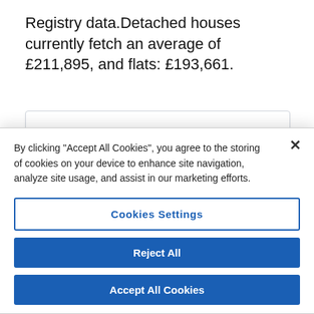Registry data. Detached houses currently fetch an average of £211,895, and flats: £193,661.
DY1 Housing Market Summary
By clicking "Accept All Cookies", you agree to the storing of cookies on your device to enhance site navigation, analyze site usage, and assist in our marketing efforts.
Cookies Settings
Reject All
Accept All Cookies